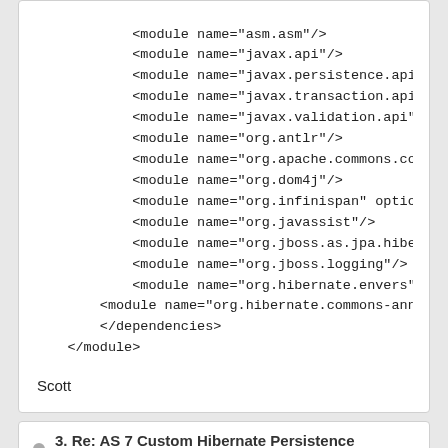<module name="asm.asm"/>
            <module name="javax.api"/>
            <module name="javax.persistence.api"/
            <module name="javax.transaction.api"/
            <module name="javax.validation.api"/>
            <module name="org.antlr"/>
            <module name="org.apache.commons.coll
            <module name="org.dom4j"/>
            <module name="org.infinispan" optiona
            <module name="org.javassist"/>
            <module name="org.jboss.as.jpa.hibern
            <module name="org.jboss.logging"/>
            <module name="org.hibernate.envers" s
        <module name="org.hibernate.commons-annot
        </dependencies>
    </module>
Scott
3. Re: AS 7 Custom Hibernate Persistence Provider in EAR